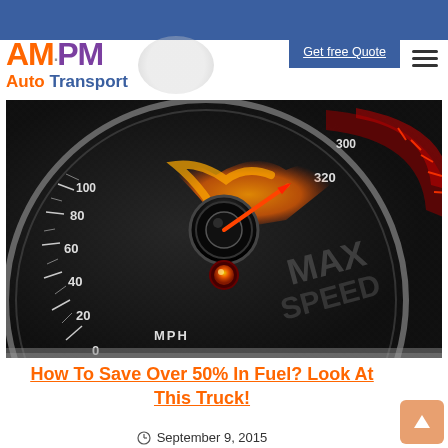AMPM Auto Transport
[Figure (photo): Close-up of a speedometer gauge with dark carbon fiber background, showing MPH markings from 0 to 320+, with orange/red needle pointing near maximum, and glowing red warning light]
How To Save Over 50% In Fuel? Look At This Truck!
September 9, 2015